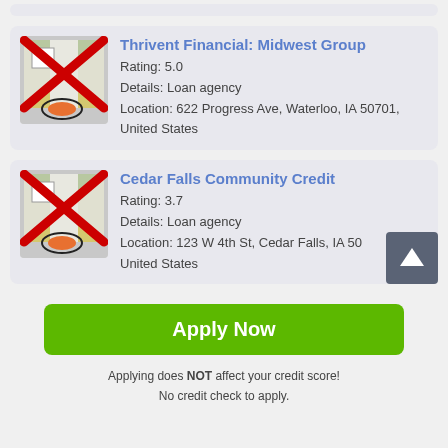[Figure (other): Loan agency listing card: Thrivent Financial: Midwest Group, Rating 5.0, Loan agency, 622 Progress Ave Waterloo IA 50701]
[Figure (other): Loan agency listing card: Cedar Falls Community Credit, Rating 3.7, Loan agency, 123 W 4th St Cedar Falls IA 50, United States]
Apply Now
Applying does NOT affect your credit score!
No credit check to apply.